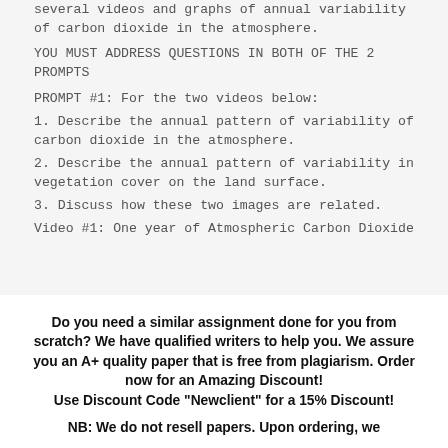several videos and graphs of annual variability of carbon dioxide in the atmosphere.
YOU MUST ADDRESS QUESTIONS IN BOTH OF THE 2 PROMPTS
PROMPT #1: For the two videos below:
1. Describe the annual pattern of variability of carbon dioxide in the atmosphere.
2. Describe the annual pattern of variability in vegetation cover on the land surface.
3. Discuss how these two images are related.
Video #1: One year of Atmospheric Carbon Dioxide
Do you need a similar assignment done for you from scratch? We have qualified writers to help you. We assure you an A+ quality paper that is free from plagiarism. Order now for an Amazing Discount! Use Discount Code "Newclient" for a 15% Discount!
NB: We do not resell papers. Upon ordering, we